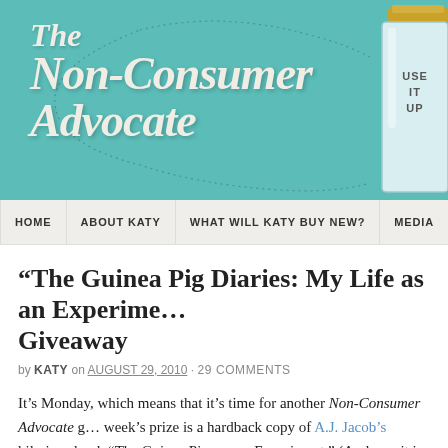[Figure (illustration): The Non-Consumer Advocate blog header banner on teal/turquoise background with decorative hand-lettered title text and a mason jar illustration on the right side partially cropped]
HOME | ABOUT KATY | WHAT WILL KATY BUY NEW? | MEDIA
“The Guinea Pig Diaries: My Life as an Experiment” Giveaway
by KATY on AUGUST 29, 2010 · 29 COMMENTS
It’s Monday, which means that it’s time for another Non-Consumer Advocate g... week’s prize is a hardback copy of A.J. Jacob’s hilarious book “The Guinea Pi... as an Experiment.” (And yes, it is from Goodwill!)
To start, is this book, it’s something in the page as a continuation below...